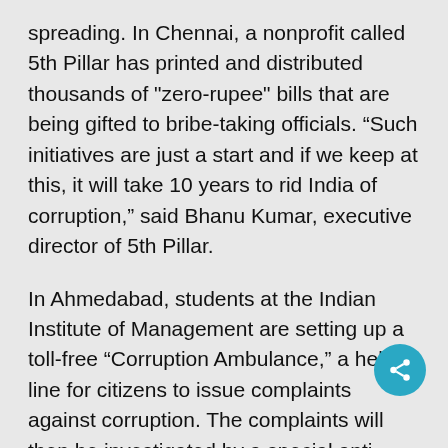spreading. In Chennai, a nonprofit called 5th Pillar has printed and distributed thousands of "zero-rupee" bills that are being gifted to bribe-taking officials. “Such initiatives are just a start and if we keep at this, it will take 10 years to rid India of corruption,” said Bhanu Kumar, executive director of 5th Pillar.
In Ahmedabad, students at the Indian Institute of Management are setting up a toll-free “Corruption Ambulance,” a help line for citizens to issue complaints against corruption. The complaints will then be investigated by a special anti-corruption cell.
IPaidABribe is inspiring nonprofits overseas t… Foundations from South Africa and the United